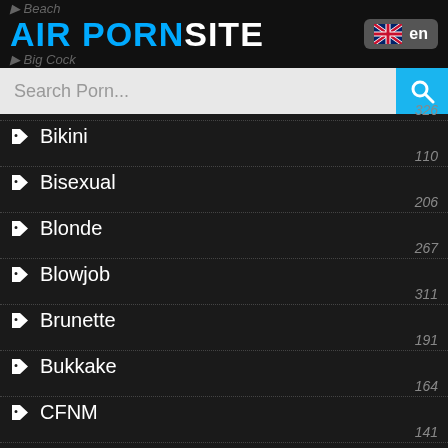AIR PORNSITE
Bikini 326
Bisexual 110
Blonde 206
Blowjob 267
Brunette 311
Bukkake 191
CFNM 164
Cameltoe 141
Car 91
Cartoon 169